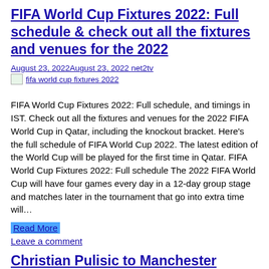FIFA World Cup Fixtures 2022: Full schedule & check out all the fixtures and venues for the 2022
August 23, 2022August 23, 2022 net2tv
[Figure (other): Thumbnail image placeholder for fifa world cup fixtures 2022]
FIFA World Cup Fixtures 2022: Full schedule, and timings in IST. Check out all the fixtures and venues for the 2022 FIFA World Cup in Qatar, including the knockout bracket. Here’s the full schedule of FIFA World Cup 2022. The latest edition of the World Cup will be played for the first time in Qatar. FIFA World Cup Fixtures 2022: Full schedule The 2022 FIFA World Cup will have four games every day in a 12-day group stage and matches later in the tournament that go into extra time will…
Read More
Leave a comment
Christian Pulisic to Manchester United: Latest reports on potential transfer and how he would fit at Old Trafford